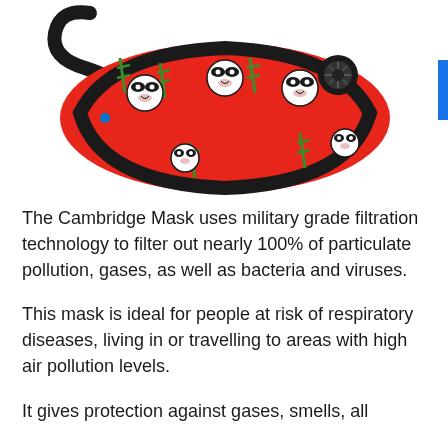[Figure (photo): A red Cambridge Mask with panda faces and green bamboo pattern printed on it, featuring a black exhalation valve on the right side and black fabric edges with elastic straps. The mask is shown against a white background.]
The Cambridge Mask uses military grade filtration technology to filter out nearly 100% of particulate pollution, gases, as well as bacteria and viruses.
This mask is ideal for people at risk of respiratory diseases, living in or travelling to areas with high air pollution levels.
It gives protection against gases, smells, all